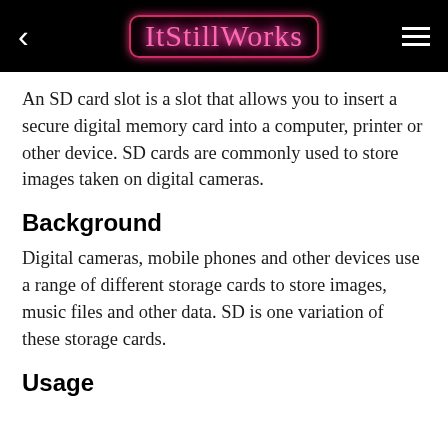ItStillWorks
An SD card slot is a slot that allows you to insert a secure digital memory card into a computer, printer or other device. SD cards are commonly used to store images taken on digital cameras.
Background
Digital cameras, mobile phones and other devices use a range of different storage cards to store images, music files and other data. SD is one variation of these storage cards.
Usage